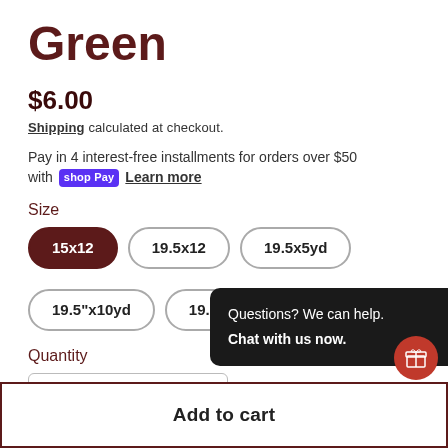Green
$6.00
Shipping calculated at checkout.
Pay in 4 interest-free installments for orders over $50 with shop Pay  Learn more
Size
15x12
19.5x12
19.5x5yd
19.5"x10yd
19.5"x15yd
Quantity
1
Questions? We can help.
Chat with us now.
Add to cart